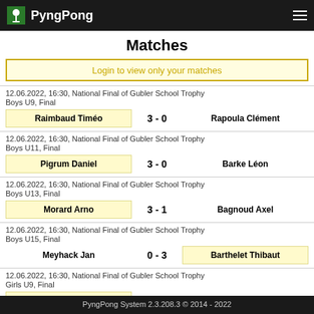PyngPong
Matches
Login to view only your matches
12.06.2022, 16:30, National Final of Gubler School Trophy
Boys U9, Final
Raimbaud Timéo  3 - 0  Rapoula Clément
12.06.2022, 16:30, National Final of Gubler School Trophy
Boys U11, Final
Pigrum Daniel  3 - 0  Barke Léon
12.06.2022, 16:30, National Final of Gubler School Trophy
Boys U13, Final
Morard Arno  3 - 1  Bagnoud Axel
12.06.2022, 16:30, National Final of Gubler School Trophy
Boys U15, Final
Meyhack Jan  0 - 3  Barthelet Thibaut
12.06.2022, 16:30, National Final of Gubler School Trophy
Girls U9, Final
Li Yulling  3 - 0  Berdoz Diane
PyngPong System 2.3.208.3 © 2014 - 2022